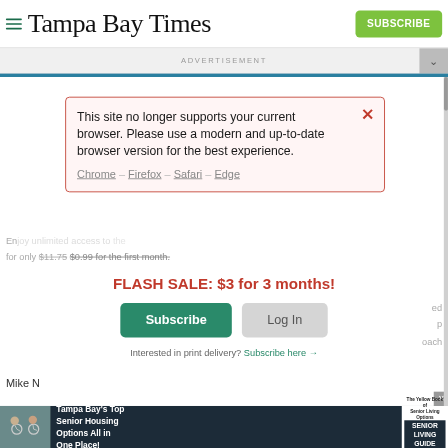Tampa Bay Times
ADVERTISEMENT
[Figure (screenshot): Browser compatibility warning modal with red border on pink background. Text: 'This site no longer supports your current browser. Please use a modern and up-to-date browser version for the best experience.' Links: Chrome – Firefox – Safari – Edge]
for only $11.75 $0.99 for the first month.
FLASH SALE: $3 for 3 months!
Subscribe   Log In
Interested in print delivery? Subscribe here →
Mike N
[Figure (infographic): Advertisement banner: Tampa Bay's Top Senior Housing Options All in One Place! Senior Living Guide logo on dark background with photo of two elderly cyclists.]